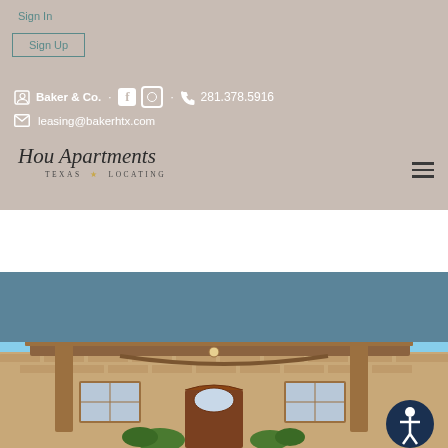Sign In
Sign Up
Baker & Co.  281.378.5916
leasing@bakerhtx.com
[Figure (logo): Hou Apartments Texas Locating logo in cursive script]
[Figure (photo): Apartment building exterior with wooden pergola/portico entrance, brick facade, and blue sky. Steel-blue banner at top.]